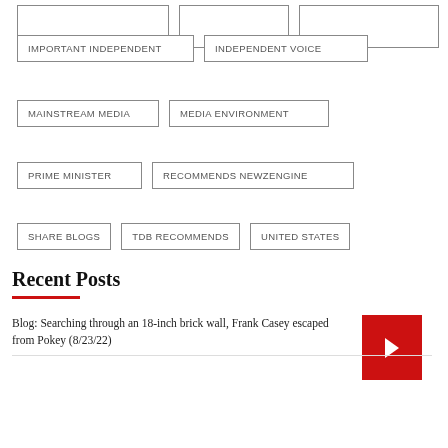IMPORTANT INDEPENDENT
INDEPENDENT VOICE
MAINSTREAM MEDIA
MEDIA ENVIRONMENT
PRIME MINISTER
RECOMMENDS NEWZENGINE
SHARE BLOGS
TDB RECOMMENDS
UNITED STATES
VOICE DONATE
Recent Posts
Blog: Searching through an 18-inch brick wall, Frank Casey escaped from Pokey (8/23/22)